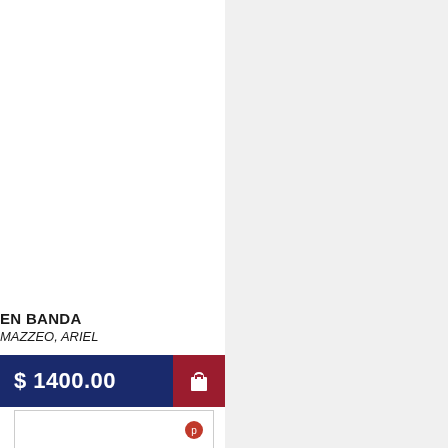EN BANDA
MAZZEO, ARIEL
$ 1400.00
[Figure (illustration): Book cover for 'El lenguaje de la pasión' by Mario Vargas Llosa, white background with red publisher logo, author name in italic serif and bold serif, subtitle in italic]
El lenguaje de la pasión